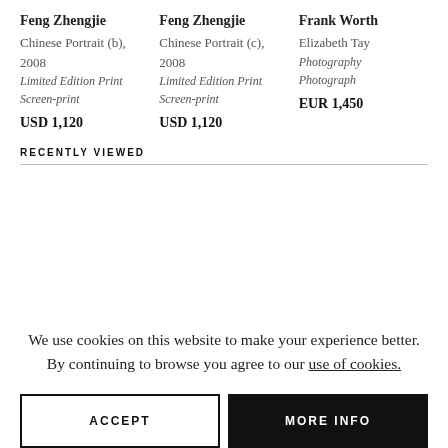Feng Zhengjie
Chinese Portrait (b), 2008
Limited Edition Print
Screen-print
USD 1,120
Feng Zhengjie
Chinese Portrait (c), 2008
Limited Edition Print
Screen-print
USD 1,120
Frank Worth
Elizabeth Tay
Photography
Photograph
EUR 1,450
RECENTLY VIEWED
We use cookies on this website to make your experience better. By continuing to browse you agree to our use of cookies.
ACCEPT
MORE INFO